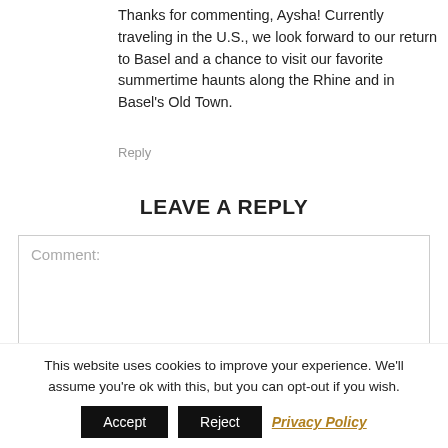Thanks for commenting, Aysha! Currently traveling in the U.S., we look forward to our return to Basel and a chance to visit our favorite summertime haunts along the Rhine and in Basel's Old Town.
Reply
LEAVE A REPLY
Comment:
This website uses cookies to improve your experience. We'll assume you're ok with this, but you can opt-out if you wish.